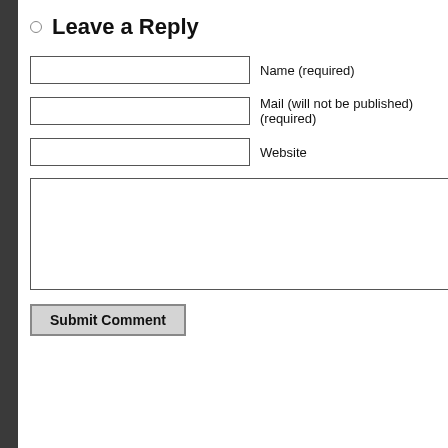Leave a Reply
Name (required)
Mail (will not be published) (required)
Website
Submit Comment